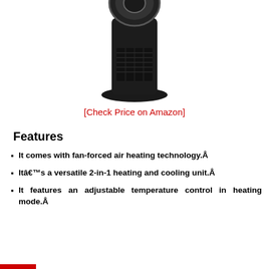[Figure (photo): Product photo of a black tower fan/heater with circular top element, partially cropped at top]
[Check Price on Amazon]
Features
It comes with fan-forced air heating technology.Â
Itâ€™s a versatile 2-in-1 heating and cooling unit.Â
It features an adjustable temperature control in heating mode.Â